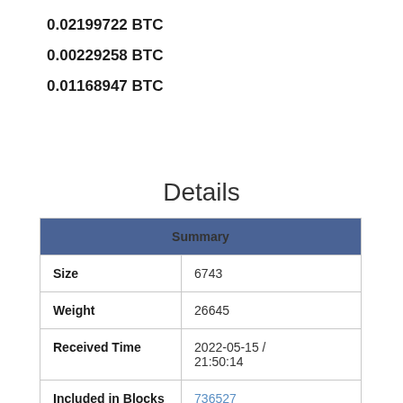0.02199722 BTC
0.00229258 BTC
0.01168947 BTC
Details
| Summary |  |
| --- | --- |
| Size | 6743 |
| Weight | 26645 |
| Received Time | 2022-05-15 / 21:50:14 |
| Included in Blocks | 736527 |